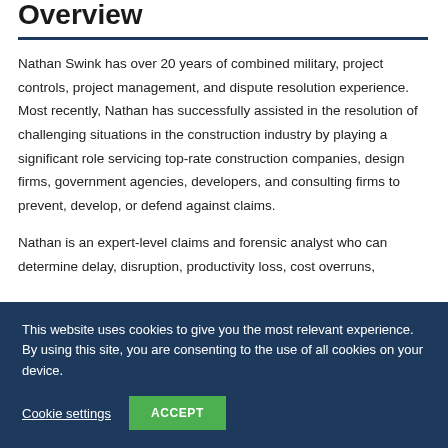Overview
Nathan Swink has over 20 years of combined military, project controls, project management, and dispute resolution experience. Most recently, Nathan has successfully assisted in the resolution of challenging situations in the construction industry by playing a significant role servicing top-rate construction companies, design firms, government agencies, developers, and consulting firms to prevent, develop, or defend against claims.
Nathan is an expert-level claims and forensic analyst who can determine delay, disruption, productivity loss, cost overruns,
This website uses cookies to give you the most relevant experience. By using this site, you are consenting to the use of all cookies on your device.
Cookie settings
ACCEPT